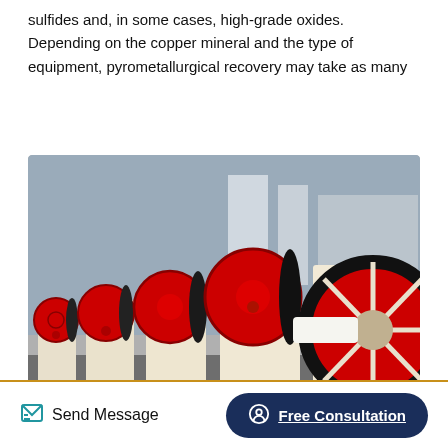sulfides and, in some cases, high-grade oxides. Depending on the copper mineral and the type of equipment, pyrometallurgical recovery may take as many
[Figure (photo): A row of industrial jaw crushers in a factory, each with large red and black flywheels on the side, cream/white body frames, lined up in a manufacturing facility.]